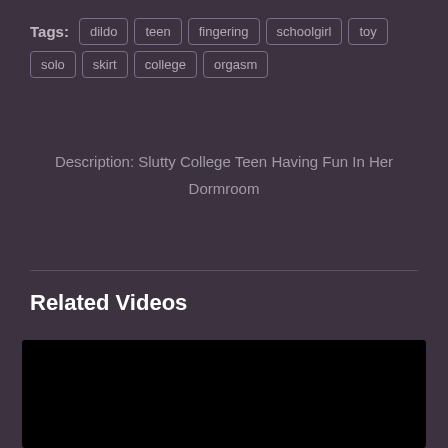Tags: dildo teen fingering schoolgirl toy solo skirt college orgasm
Description: Slutty College Teen Having Fun In Her Dormroom
Related Videos
[Figure (other): Black video thumbnail placeholder]